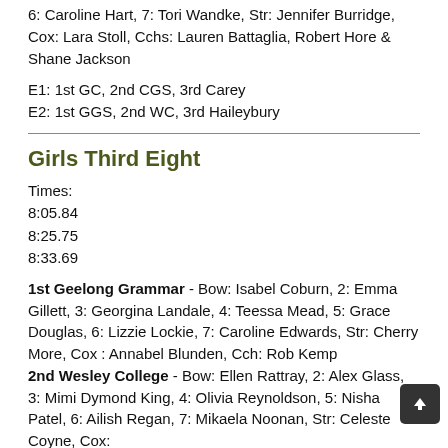6: Caroline Hart, 7: Tori Wandke, Str: Jennifer Burridge, Cox: Lara Stoll, Cchs: Lauren Battaglia, Robert Hore & Shane Jackson
E1: 1st GC, 2nd CGS, 3rd Carey
E2: 1st GGS, 2nd WC, 3rd Haileybury
Girls Third Eight
Times:
8:05.84
8:25.75
8:33.69
1st Geelong Grammar - Bow: Isabel Coburn, 2: Emma Gillett, 3: Georgina Landale, 4: Teessa Mead, 5: Grace Douglas, 6: Lizzie Lockie, 7: Caroline Edwards, Str: Cherry More, Cox : Annabel Blunden, Cch: Rob Kemp
2nd Wesley College - Bow: Ellen Rattray, 2: Alex Glass, 3: Mimi Dymond King, 4: Olivia Reynoldson, 5: Nisha Patel, 6: Ailish Regan, 7: Mikaela Noonan, Str: Celeste Coyne, Cox: